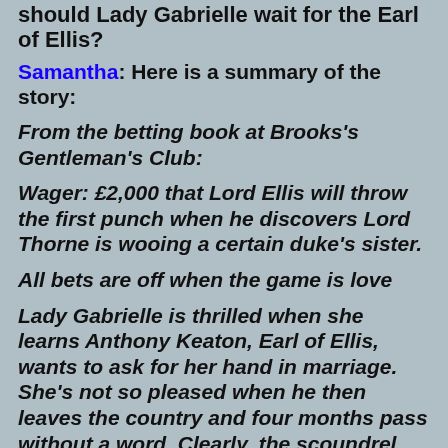should Lady Gabrielle wait for the Earl of Ellis?
Samantha: Here is a summary of the story:
From the betting book at Brooks's Gentleman's Club:
Wager: £2,000 that Lord Ellis will throw the first punch when he discovers Lord Thorne is wooing a certain duke's sister.
All bets are off when the game is love
Lady Gabrielle is thrilled when she learns Anthony Keaton, Earl of Ellis, wants to ask for her hand in marriage. She's not so pleased when he then leaves the country and four months pass without a word. Clearly, the scoundrel has changed his mind and is too cowardly to tell her. There's nothing to do but go back on the